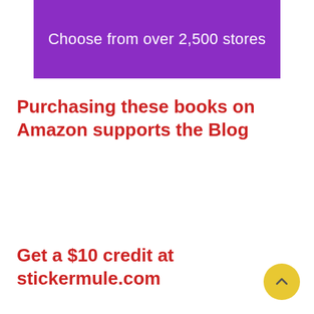[Figure (screenshot): Purple banner with white text reading 'Choose from over 2,500 stores']
Purchasing these books on Amazon supports the Blog
Get a $10 credit at stickermule.com